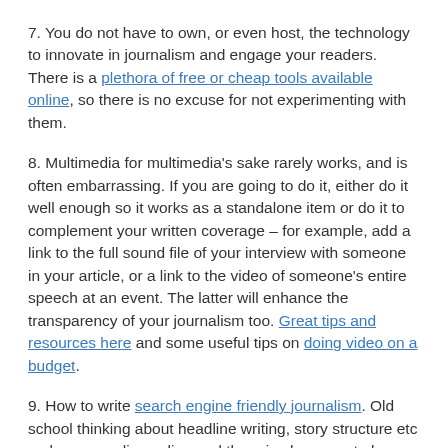7. You do not have to own, or even host, the technology to innovate in journalism and engage your readers. There is a plethora of free or cheap tools available online, so there is no excuse for not experimenting with them.
8. Multimedia for multimedia's sake rarely works, and is often embarrassing. If you are going to do it, either do it well enough so it works as a standalone item or do it to complement your written coverage – for example, add a link to the full sound file of your interview with someone in your article, or a link to the video of someone's entire speech at an event. The latter will enhance the transparency of your journalism too. Great tips and resources here and some useful tips on doing video on a budget.
9. How to write search engine friendly journalism. Old school thinking about headline writing, story structure etc no longer applies online and there is also more to learn about tagging,